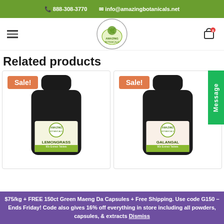888-308-3770  info@amazingbotanicals.net
[Figure (logo): Amazing Botanicals circular logo with plant/sloth illustration]
Related products
[Figure (photo): Amazing Botanicals Lemongrass 90x Extract Tablet bottle with Sale! badge]
[Figure (photo): Amazing Botanicals Galangal 90x Extract Tablet bottle with Sale! badge]
$75/kg + FREE 150ct Green Maeng Da Capsules + Free Shipping. Use code G150 - Ends Friday! Code also gives 16% off everything in store including all powders, capsules, & extracts Dismiss